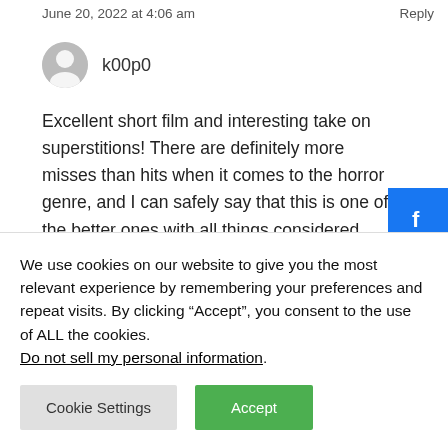June 20, 2022 at 4:06 am
Reply
k00p0
Excellent short film and interesting take on superstitions! There are definitely more misses than hits when it comes to the horror genre, and I can safely say that this is one of the better ones with all things considered.
Your friend definitely has a bright future in
We use cookies on our website to give you the most relevant experience by remembering your preferences and repeat visits. By clicking “Accept”, you consent to the use of ALL the cookies. Do not sell my personal information.
Cookie Settings
Accept